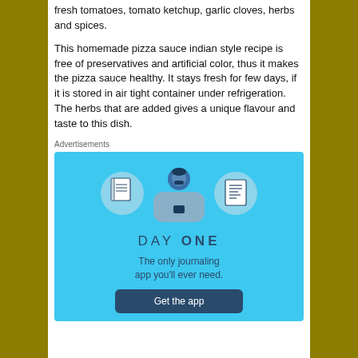fresh tomatoes, tomato ketchup, garlic cloves, herbs and spices.
This homemade pizza sauce indian style recipe is free of preservatives and artificial color, thus it makes the pizza sauce healthy. It stays fresh for few days, if it is stored in air tight container under refrigeration. The herbs that are added gives a unique flavour and taste to this dish.
Advertisements
[Figure (illustration): Day One journaling app advertisement on blue background with illustrated person and notebook icons. Text reads DAY ONE - The only journaling app you'll ever need. Get the app button.]